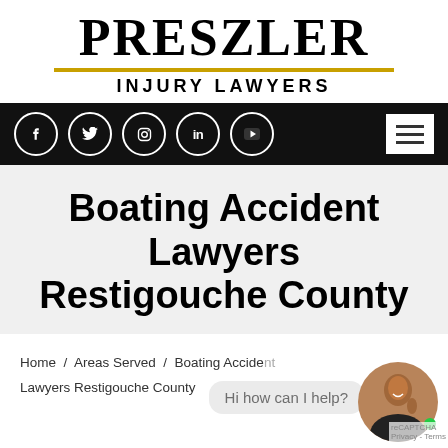[Figure (logo): Preszler Injury Lawyers logo with PRESZLER in large serif bold font, gold divider line, and INJURY LAWYERS in bold sans-serif caps]
[Figure (screenshot): Black navigation bar with 5 social media icons (Facebook, Twitter, Instagram, LinkedIn, YouTube) and a white hamburger menu button on the right]
Boating Accident Lawyers Restigouche County
Hi how can I help?
Home / Areas Served / Boating Accident Lawyers Restigouche County